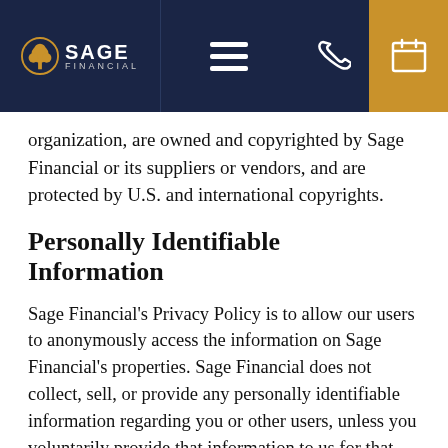Sage Financial — navigation bar with logo, hamburger menu, phone icon, calendar icon
organization, are owned and copyrighted by Sage Financial or its suppliers or vendors, and are protected by U.S. and international copyrights.
Personally Identifiable Information
Sage Financial's Privacy Policy is to allow our users to anonymously access the information on Sage Financial's properties. Sage Financial does not collect, sell, or provide any personally identifiable information regarding you or other users, unless you voluntarily provide that information to us for that purpose. In this Section we have set out: (1) the general categories of personal data that we may process; (2) the purposes for which we may